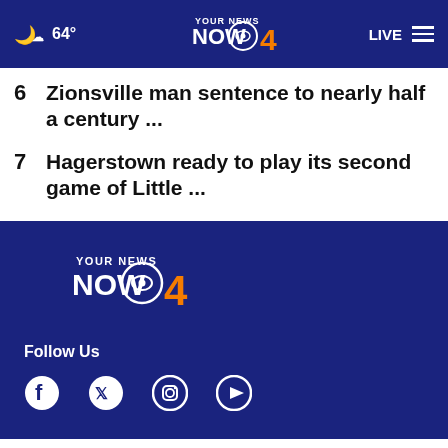64° | Your News Now 4 | LIVE
6  Zionsville man sentence to nearly half a century ...
7  Hagerstown ready to play its second game of Little ...
[Figure (logo): Your News Now CBS 4 logo in footer]
Follow Us
[Figure (other): Social media icons: Facebook, Twitter, Instagram, YouTube]